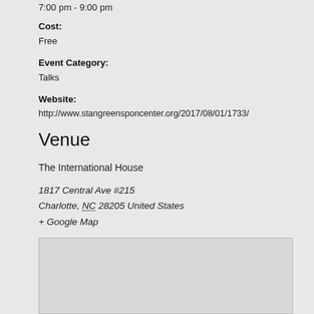7:00 pm - 9:00 pm
Cost:
Free
Event Category:
Talks
Website:
http://www.stangreensponcenter.org/2017/08/01/1733/
Venue
The International House
1817 Central Ave #215
Charlotte, NC 28205 United States
+ Google Map
Website:
http://www.ihclt.org
[Figure (map): Embedded Google Map placeholder box]